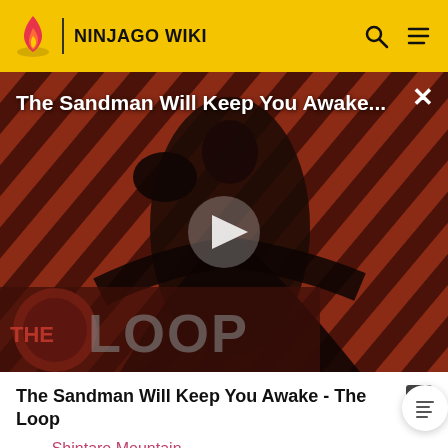NINJAGO WIKI
[Figure (screenshot): Video thumbnail showing a dark figure in a black cape against a diagonal red and black striped background. Title overlay reads 'The Sandman Will Keep You Awake...' with THE LOOP logo at bottom left and a play button in the center.]
The Sandman Will Keep You Awake - The Loop
Shintaro Mountain
Dungeons of Shintaro
Eastern caves
Geckle Strong-Cave